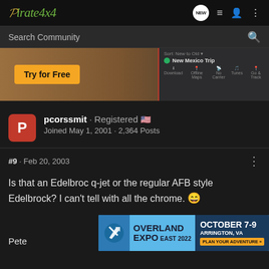Pirate4x4
Search Community
[Figure (screenshot): Advertisement banner showing a rock crawling image with 'Try for Free' button in orange, alongside a dark UI panel showing 'New Mexico Trip' route planning app]
pcorssmit · Registered 🇺🇸
Joined May 1, 2001 · 2,364 Posts
#9 · Feb 20, 2003
Is that an Edelbroc q-jet or the regular AFB style Edelbrock? I can't tell with all the chrome. 😄
Pete
[Figure (screenshot): Overland Expo East 2022 advertisement banner - October 7-9, Arrington, VA, Plan Your Adventure]